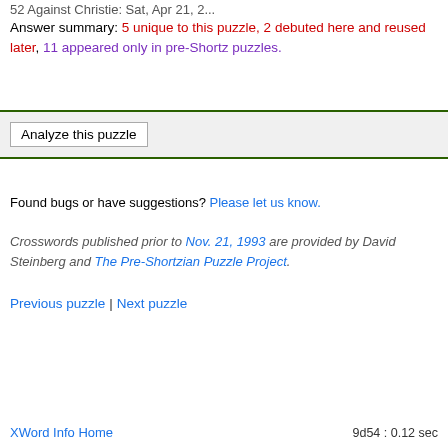52 Against Christie: Sat, Apr 21, 2...
Answer summary: 5 unique to this puzzle, 2 debuted here and reused later, 11 appeared only in pre-Shortz puzzles.
Analyze this puzzle
Found bugs or have suggestions? Please let us know.
Crosswords published prior to Nov. 21, 1993 are provided by David Steinberg and The Pre-Shortzian Puzzle Project.
Previous puzzle | Next puzzle
XWord Info Home   9d54 : 0.12 sec